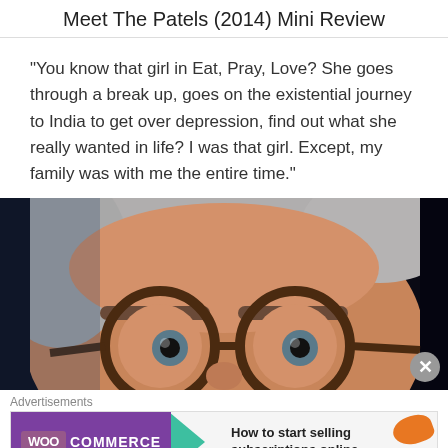Meet The Patels (2014) Mini Review
“You know that girl in Eat, Pray, Love? She goes through a break up, goes on the existential journey to India to get over depression, find out what she really wanted in life? I was that girl. Except, my family was with me the entire time.”
[Figure (photo): Close-up photo of an elderly person with grey hair and large round tortoiseshell glasses, looking directly at the camera against a dark background.]
Advertisements
[Figure (screenshot): WooCommerce advertisement banner: purple background with WooCommerce logo and teal arrow, text reads 'How to start selling subscriptions online', orange and blue decorative shapes on the right.]